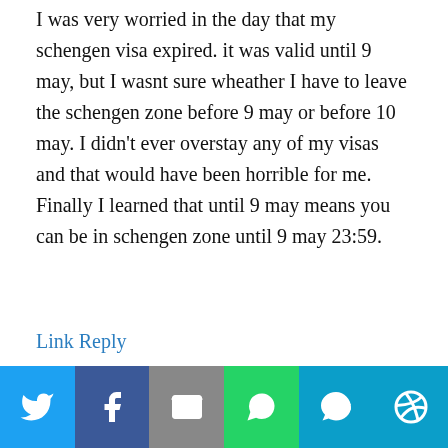I was very worried in the day that my schengen visa expired. it was valid until 9 may, but I wasnt sure wheather I have to leave the schengen zone before 9 may or before 10 may. I didn't ever overstay any of my visas and that would have been horrible for me. Finally I learned that until 9 may means you can be in schengen zone until 9 may 23:59.
Link Reply
mohamed
[Figure (infographic): Social share bar with Twitter, Facebook, Email, WhatsApp, SMS, and More buttons]